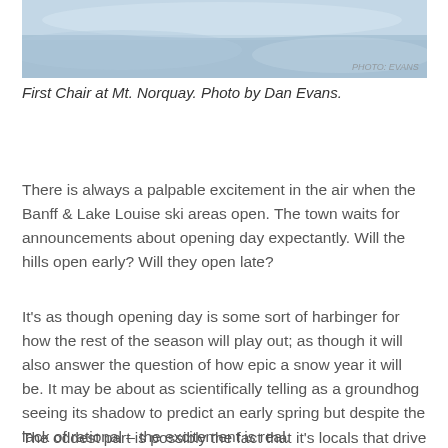[Figure (photo): Aerial or close-up snow scene at Mt. Norquay ski area, showing snow and ice texture.]
First Chair at Mt. Norquay. Photo by Dan Evans.
There is always a palpable excitement in the air when the Banff & Lake Louise ski areas open.  The town waits for announcements about opening day expectantly.  Will the hills open early? Will they open late?
It's as though opening day is some sort of harbinger for how the rest of the season will play out; as though it will also answer the question of how epic a snow year it will be.  It may be about as scientifically telling as a groundhog seeing its shadow to predict an early spring but despite the lack of rational – the excitement is real.
The oddest part is possibly the fact that it's locals that drive the buzz; tourists are few and far between in mid-